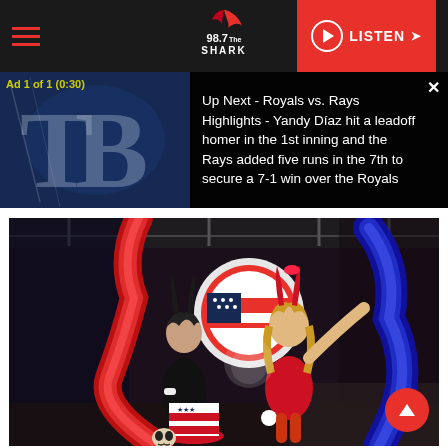98.7 The Shark - LISTEN
Ad 1 of 1 (0:30)
Up Next - Royals vs. Rays Highlights - Yandy Díaz hit a leadoff homer in the 1st inning and the Rays added five runs in the 7th to secure a 7-1 win over the Royals
[Figure (photo): Two women in Playboy bunny costumes — one in black and one in red — holding colorful feather boas (red and blue) at an outdoor event with patriotic decorations]